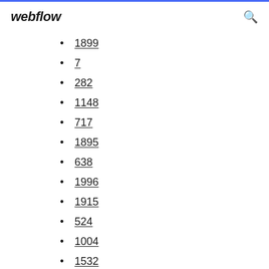webflow
1899
7
282
1148
717
1895
638
1996
1915
524
1004
1532